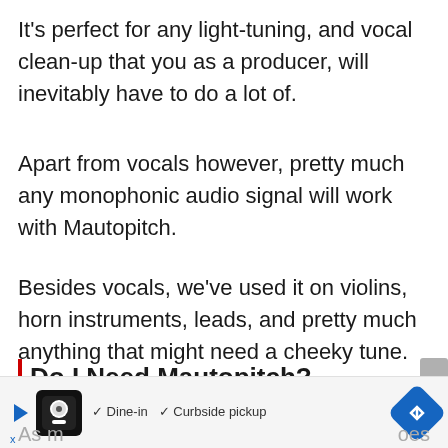It's perfect for any light-tuning, and vocal clean-up that you as a producer, will inevitably have to do a lot of.
Apart from vocals however, pretty much any monophonic audio signal will work with Mautopitch.
Besides vocals, we've used it on violins, horn instruments, leads, and pretty much anything that might need a cheeky tune.
Do I Need Mautopitch?
As m... oes
[Figure (other): Advertisement banner showing restaurant app with Dine-in and Curbside pickup options]